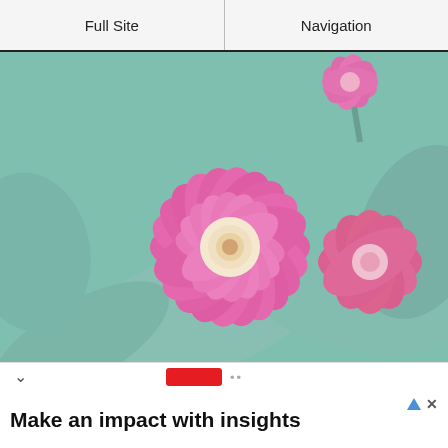Full Site | Navigation
[Figure (photo): Close-up photograph of pink zinnia flowers with green-grey foliage in the background. The main flower is large and centered-left, with two more pink flowers visible in the upper right and lower right areas.]
Make an impact with insights
Ask your data queries to Insights On the Go in your language across multiple channels. Sense Forth
Open